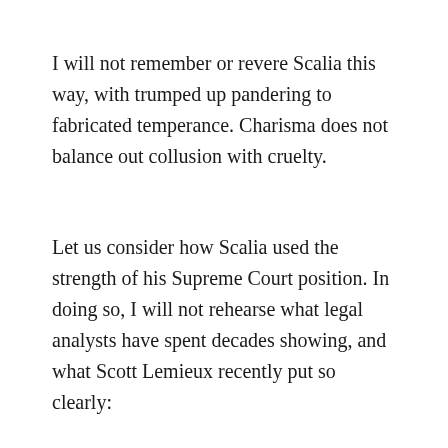I will not remember or revere Scalia this way, with trumped up pandering to fabricated temperance. Charisma does not balance out collusion with cruelty.
Let us consider how Scalia used the strength of his Supreme Court position. In doing so, I will not rehearse what legal analysts have spent decades showing, and what Scott Lemieux recently put so clearly: